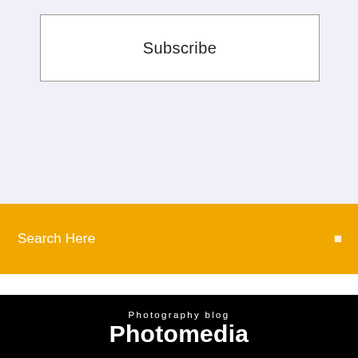Subscribe
Search Here
Photography blog
Photomedia
Download APK (10.5 MB) Versions. Using APKPure App to upgrade New Life Center, fast, free and save your internet